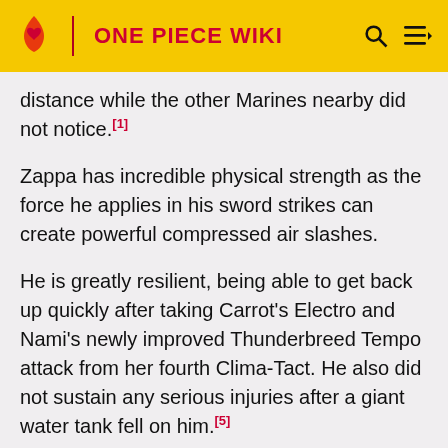ONE PIECE WIKI
distance while the other Marines nearby did not notice.[1]
Zappa has incredible physical strength as the force he applies in his sword strikes can create powerful compressed air slashes.
He is greatly resilient, being able to get back up quickly after taking Carrot's Electro and Nami's newly improved Thunderbreed Tempo attack from her fourth Clima-Tact. He also did not sustain any serious injuries after a giant water tank fell on him.[5]
Swordmanship
Zappa is highly proficient in dual wielding his katana swords, being capable of creating flying slashes, a